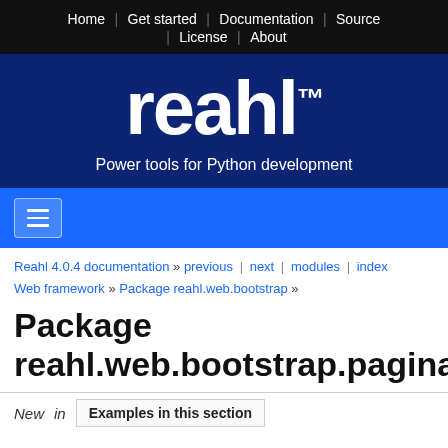Home | Get started | Documentation | Source | License | About
[Figure (logo): Reahl logo with trademark symbol and tagline 'Power tools for Python development' on dark blue background]
Menu toggle button (hamburger icon) on blue navigation bar
Reahl 4.0.4 documentation » previous | next | modules | index
Web framework » Package reahl.web.bootstrap »
Package reahl.web.bootstrap.pagination
New  in  Examples in this section